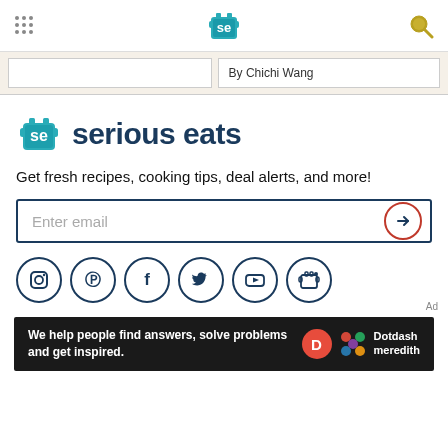Serious Eats header with logo and navigation
By Chichi Wang
[Figure (logo): Serious Eats logo with teal cooking pot icon and 'serious eats' brand name in dark blue]
Get fresh recipes, cooking tips, deal alerts, and more!
Enter email
[Figure (infographic): Social media icons row: Instagram, Pinterest, Facebook, Twitter, YouTube, and Serious Eats app icon]
[Figure (infographic): Dotdash Meredith advertisement bar: 'We help people find answers, solve problems and get inspired.']